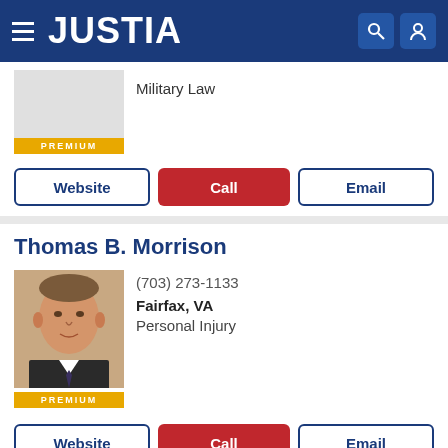JUSTIA
Military Law
PREMIUM
Website | Call | Email
Thomas B. Morrison
(703) 273-1133
Fairfax, VA
Personal Injury
PREMIUM
Website | Call | Email
Merritt James Green PRO
McLean, VA